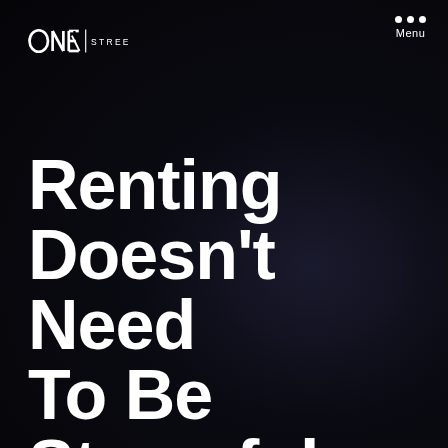[Figure (logo): ONE STREET logo in white on dark background — stylized letters O, N, E with a vertical bar and the word STREET in small caps]
Menu
Renting Doesn't Need To Be Stressful